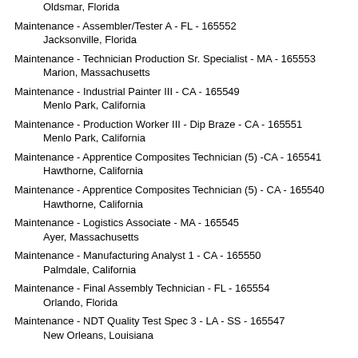Oldsmar, Florida
Maintenance - Assembler/Tester A - FL - 165552
    Jacksonville, Florida
Maintenance - Technician Production Sr. Specialist - MA - 165553
    Marion, Massachusetts
Maintenance - Industrial Painter III - CA - 165549
    Menlo Park, California
Maintenance - Production Worker III - Dip Braze - CA - 165551
    Menlo Park, California
Maintenance - Apprentice Composites Technician (5) -CA - 165541
    Hawthorne, California
Maintenance - Apprentice Composites Technician (5) - CA - 165540
    Hawthorne, California
Maintenance - Logistics Associate - MA - 165545
    Ayer, Massachusetts
Maintenance - Manufacturing Analyst 1 - CA - 165550
    Palmdale, California
Maintenance - Final Assembly Technician - FL - 165554
    Orlando, Florida
Maintenance - NDT Quality Test Spec 3 - LA - SS - 165547
    New Orleans, Louisiana